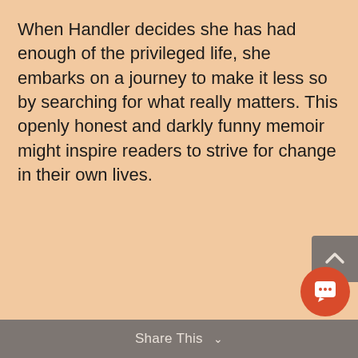When Handler decides she has had enough of the privileged life, she embarks on a journey to make it less so by searching for what really matters. This openly honest and darkly funny memoir might inspire readers to strive for change in their own lives.
Share This ∨